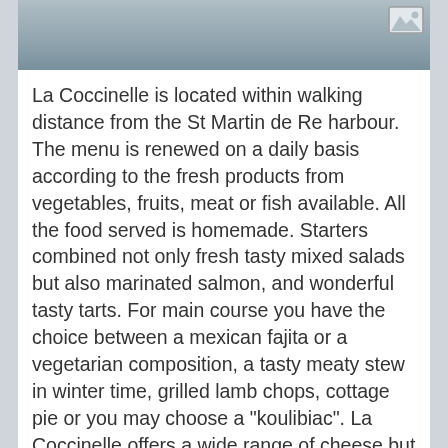[Figure (photo): Partial photo of La Coccinelle restaurant, showing what appears to be a table surface or counter, with a placeholder image icon in the top right corner]
La Coccinelle is located within walking distance from the St Martin de Re harbour. The menu is renewed on a daily basis according to the fresh products from vegetables, fruits, meat or fish available. All the food served is homemade. Starters combined not only fresh tasty mixed salads but also marinated salmon, and wonderful tasty tarts. For main course you have the choice between a mexican fajita or a vegetarian composition, a tasty meaty stew in winter time, grilled lamb chops, cottage pie or you may choose a "koulibiac". La Coccinelle offers a wide range of cheese but please do not miss the crumptious desserts. You cannot possibly leave the place without trying the "Tarte gourmande"with homemade crispy pastry, toffee and beautiful black chocolate cream. You can go for a divine tiramisu, the lemon tart, the chocolate fudge cake or a molting, in mouth red velvet